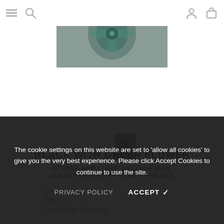Navigation header with hamburger menu, search, account and bag icons
[Figure (photo): Product photo of black with green flower glass pendant, dark teal/green floral etching on dark background]
[Figure (photo): Small thumbnail of product image]
BLACK WITH GREEN FLOWER
ETCHED AND CUBIC ZIRCONIA HIGH GLASS PENDANT BY ROBBIE VAN ECK
Vendor:
SKU:
Availability: 1 in stock
The cookie settings on this website are set to 'allow all cookies' to give you the very best experience. Please click Accept Cookies to continue to use the site.
PRIVACY POLICY   ACCEPT ✔